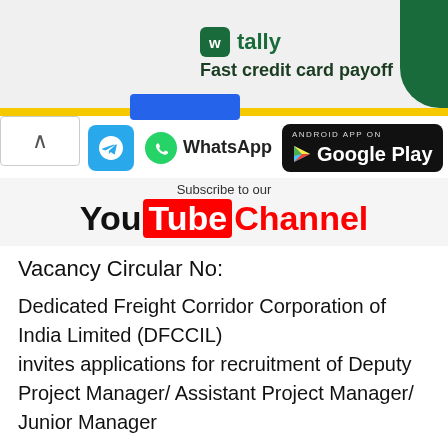[Figure (screenshot): Tally advertisement banner with green icon and 'Fast credit card payoff' text]
[Figure (screenshot): Navigation bar with yellow strip, blue button, Telegram icon, WhatsApp icon, and Google Play badge]
[Figure (screenshot): YouTube channel subscription widget showing 'Subscribe to our YouTube Channel']
Vacancy Circular No:
Dedicated Freight Corridor Corporation of India Limited (DFCCIL) invites applications for recruitment of Deputy Project Manager/ Assistant Project Manager/ Junior Manager